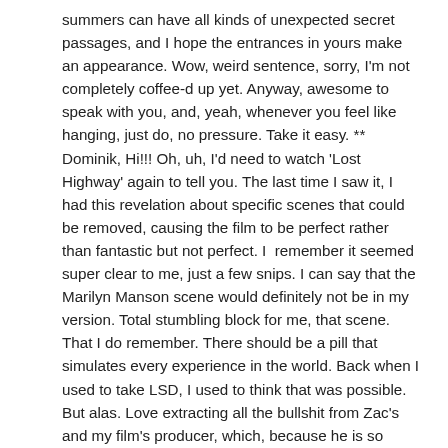summers can have all kinds of unexpected secret passages, and I hope the entrances in yours make an appearance. Wow, weird sentence, sorry, I'm not completely coffee-d up yet. Anyway, awesome to speak with you, and, yeah, whenever you feel like hanging, just do, no pressure. Take it easy. ** Dominik, Hi!!! Oh, uh, I'd need to watch 'Lost Highway' again to tell you. The last time I saw it, I had this revelation about specific scenes that could be removed, causing the film to be perfect rather than fantastic but not perfect. I  remember it seemed super clear to me, just a few snips. I can say that the Marilyn Manson scene would definitely not be in my version. Total stumbling block for me, that scene. That I do remember. There should be a pill that simulates every experience in the world. Back when I used to take LSD, I used to think that was possible. But alas. Love extracting all the bullshit from Zac's and my film's producer, which, because he is so extremely full of shit, would turn him into the human equivalent of an uninflated raft, G. **